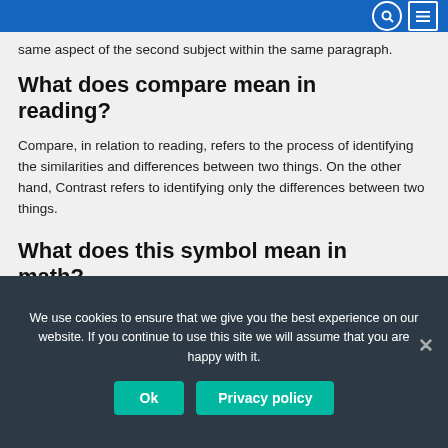same aspect of the second subject within the same paragraph.
What does compare mean in reading?
Compare, in relation to reading, refers to the process of identifying the similarities and differences between two things. On the other hand, Contrast refers to identifying only the differences between two things.
What does this symbol mean in math?
This symbol > means greater than, for example 4 > 2. ≤ ≥ These symbols mean 'less than or equal to' and 'greater than or equal to' and are commonly used in algebra.
We use cookies to ensure that we give you the best experience on our website. If you continue to use this site we will assume that you are happy with it. Ok Privacy policy